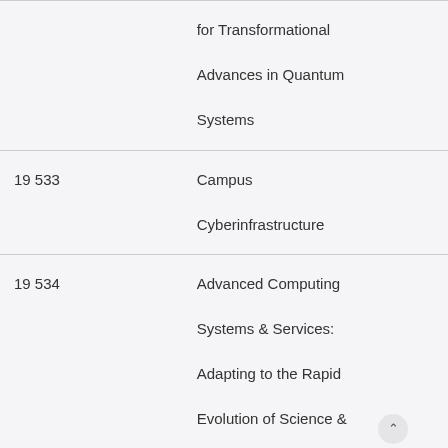|  | for Transformational Advances in Quantum Systems |
| 19 533 | Campus Cyberinfrastructure |
| 19 534 | Advanced Computing Systems & Services: Adapting to the Rapid Evolution of Science & Engineering Research |
| G19AS00020 | Cooperative Ecosystem Studies Unit, Great Lakes Northern Forest CESU |